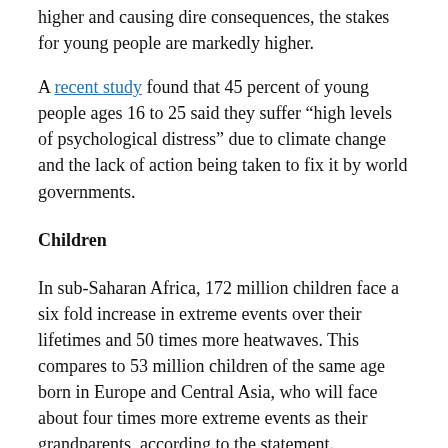higher and causing dire consequences, the stakes for young people are markedly higher.
A recent study found that 45 percent of young people ages 16 to 25 said they suffer “high levels of psychological distress” due to climate change and the lack of action being taken to fix it by world governments.
Children
In sub-Saharan Africa, 172 million children face a six fold increase in extreme events over their lifetimes and 50 times more heatwaves. This compares to 53 million children of the same age born in Europe and Central Asia, who will face about four times more extreme events as their grandparents, according to the statement.